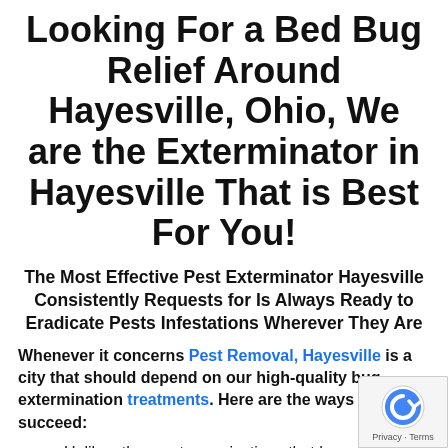Looking For a Bed Bug Relief Around Hayesville, Ohio, We are the Exterminator in Hayesville That is Best For You!
The Most Effective Pest Exterminator Hayesville Consistently Requests for Is Always Ready to Eradicate Pests Infestations Wherever They Are
Whenever it concerns Pest Removal, Hayesville is a city that should depend on our high-quality bug extermination treatments. Here are the ways we succeed:
Unlike other pest organizations that hav…